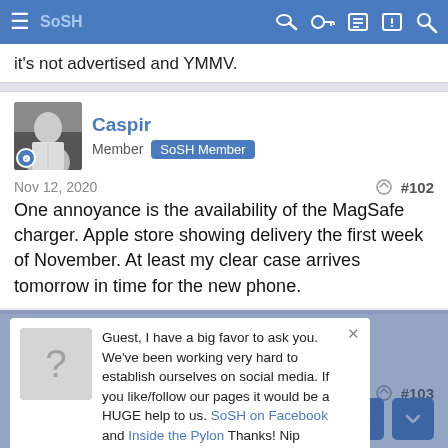SoSH
it's not advertised and YMMV.
Caspir
Member  SoSH Member
Nov 12, 2020  #102
One annoyance is the availability of the MagSafe charger. Apple store showing delivery the first week of November. At least my clear case arrives tomorrow in time for the new phone.
[Figure (screenshot): Popup modal with question mark avatar. Text: Guest, I have a big favor to ask you. We've been working very hard to establish ourselves on social media. If you like/follow our pages it would be a HUGE help to us. SoSH on Facebook and Inside the Pylon Thanks! Nip]
N  #103
M